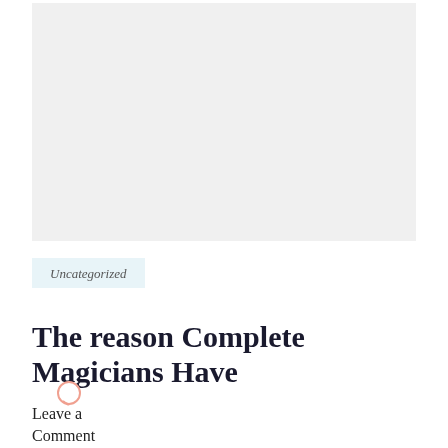[Figure (photo): Large light gray placeholder image area at the top of the page]
Uncategorized
The reason Complete Magicians Have
Leave a Comment